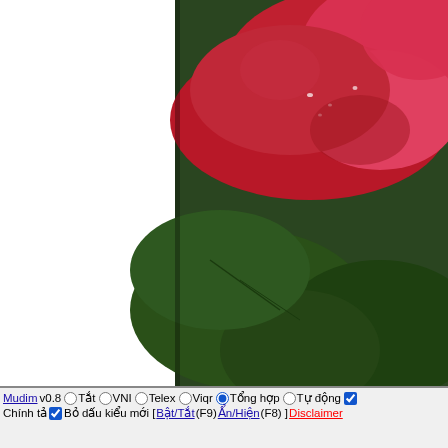[Figure (photo): Close-up macro photograph of a deep red/pink rose flower with water droplets on the petals, against a dark green leafy background]
Back to top
viethoaiphuong
#168 Posted : Sunday, March 31, 2019 12:45:24 AM(UTC)
[Figure (photo): Small black and white avatar/profile photo of a person]
Mudim v0.8  Tắt  VNI  Telex  Viqr  Tổng hợp  Tự động
Chính tả  Bỏ dấu kiểu mới [ Bật/Tắt (F9) Ẩn/Hiện (F8) ] Disclaimer